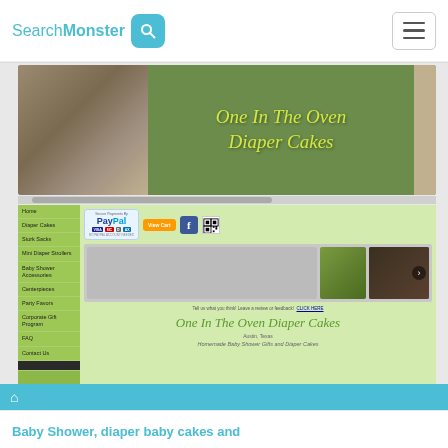SearchMonster [search icon] [hamburger menu]
[Figure (screenshot): Screenshot of 'One In The Oven Diaper Cakes' website showing banner, navigation sidebar, PayPal payment area, image carousel, and site title with Austin Texas location]
Baby Shower, diaper baby cakes and